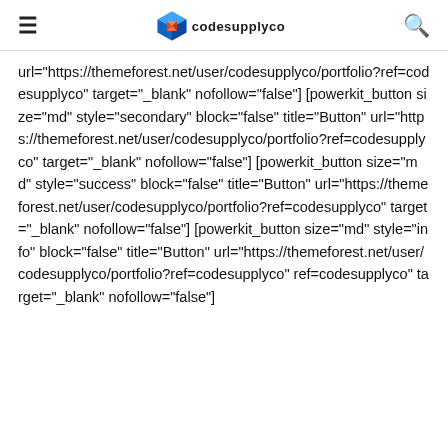≡ [logo] codesupplyco Q
url="https://themeforest.net/user/codesupplyco/portfolio?ref=codesupplyco" target="_blank" nofollow="false"] [powerkit_button size="md" style="secondary" block="false" title="Button" url="https://themeforest.net/user/codesupplyco/portfolio?ref=codesupplyco" target="_blank" nofollow="false"] [powerkit_button size="md" style="success" block="false" title="Button" url="https://themeforest.net/user/codesupplyco/portfolio?ref=codesupplyco" target="_blank" nofollow="false"] [powerkit_button size="md" style="info" block="false" title="Button" url="https://themeforest.net/user/codesupplyco/portfolio?ref=codesupplyco" target="_blank" nofollow="false"]